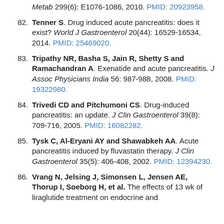Metab 299(6): E1076-1086, 2010. PMID: 20923958.
82. Tenner S. Drug induced acute pancreatitis: does it exist? World J Gastroenterol 20(44): 16529-16534, 2014. PMID: 25469020.
83. Tripathy NR, Basha S, Jain R, Shetty S and Ramachandran A. Exenatide and acute pancreatitis. J Assoc Physicians India 56: 987-988, 2008. PMID: 19322980.
84. Trivedi CD and Pitchumoni CS. Drug-induced pancreatitis: an update. J Clin Gastroenterol 39(8): 709-716, 2005. PMID: 16082282.
85. Tysk C, Al-Eryani AY and Shawabkeh AA. Acute pancreatitis induced by fluvastatin therapy. J Clin Gastroenterol 35(5): 406-408, 2002. PMID: 12394230.
86. Vrang N, Jelsing J, Simonsen L, Jensen AE, Thorup I, Soeborg H, et al. The effects of 13 wk of liraglutide treatment on endocrine and